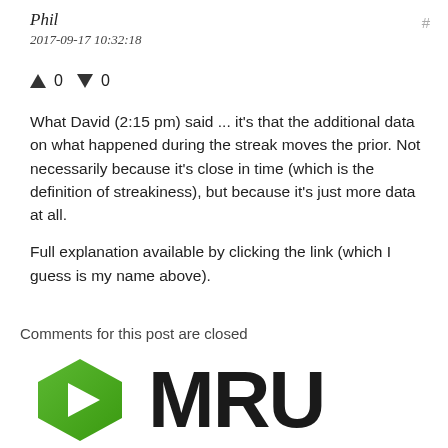Phil
2017-09-17 10:32:18
↑ 0 ↓ 0
What David (2:15 pm) said ... it's that the additional data on what happened during the streak moves the prior. Not necessarily because it's close in time (which is the definition of streakiness), but because it's just more data at all.

Full explanation available by clicking the link (which I guess is my name above).
Comments for this post are closed
[Figure (logo): MRU logo: green hexagon with white play triangle inside, followed by bold black text 'MRU']